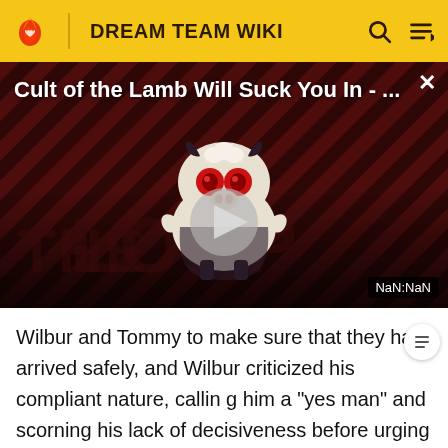DREAM TEAM WIKI
[Figure (screenshot): Video thumbnail for 'Cult of the Lamb Will Suck You In - ...' showing a demonic lamb character on a striped red and dark background with 'THE LOOP' text watermark, a play button in the center, and a NaN:NaN time badge in the bottom right corner.]
Wilbur and Tommy to make sure that they had arrived safely, and Wilbur criticized his compliant nature, calling him a "yes man" and scorning his lack of decisiveness before urging him to go on and give his speech so he could detonate everything. After heeding a last warning